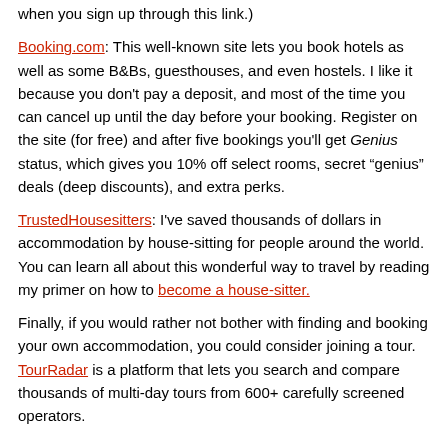when you sign up through this link.)
Booking.com: This well-known site lets you book hotels as well as some B&Bs, guesthouses, and even hostels. I like it because you don't pay a deposit, and most of the time you can cancel up until the day before your booking. Register on the site (for free) and after five bookings you'll get Genius status, which gives you 10% off select rooms, secret "genius" deals (deep discounts), and extra perks.
TrustedHousesitters: I've saved thousands of dollars in accommodation by house-sitting for people around the world. You can learn all about this wonderful way to travel by reading my primer on how to become a house-sitter.
Finally, if you would rather not bother with finding and booking your own accommodation, you could consider joining a tour. TourRadar is a platform that lets you search and compare thousands of multi-day tours from 600+ carefully screened operators.